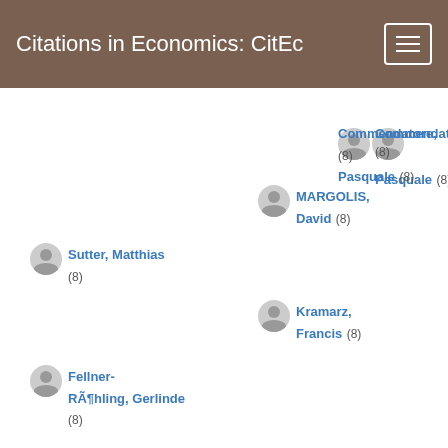Citations in Economics: CitEc
Commendatore, Pasquale (8)
MARGOLIS, David (8)
Sutter, Matthias (8)
Kramarz, Francis (8)
Fellner-RÃ¶hling, Gerlinde (8)
Main data
[Figure (bar-chart): Bar chart showing production by document type, y-axis from 0 to 15, with bars reaching approximately 10 and 5]